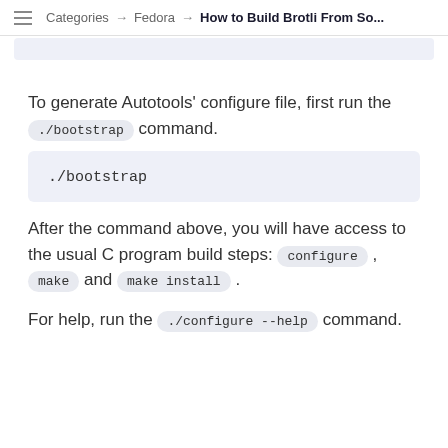Categories → Fedora → How to Build Brotli From So...
To generate Autotools' configure file, first run the ./bootstrap command.
./bootstrap
After the command above, you will have access to the usual C program build steps: configure , make and make install .
For help, run the ./configure --help command.